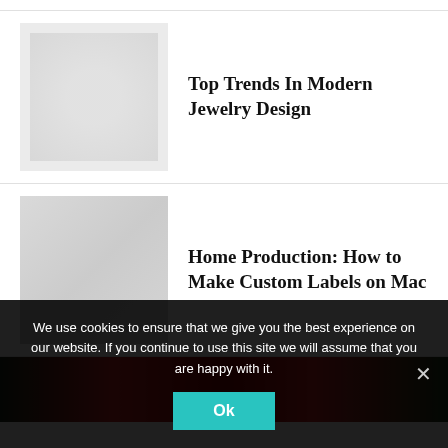Top Trends In Modern Jewelry Design
Home Production: How to Make Custom Labels on Mac
[Figure (photo): Partial view of a colorful image at the bottom of the page, showing red and green tones]
We use cookies to ensure that we give you the best experience on our website. If you continue to use this site we will assume that you are happy with it.